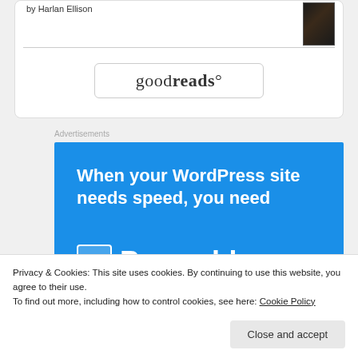by Harlan Ellison
[Figure (logo): goodreads button/logo inside a rounded rectangle card]
Advertisements
[Figure (infographic): Pressable advertisement banner on blue background: 'When your WordPress site needs speed, you need Pressable' with P logo and teal underline]
Privacy & Cookies: This site uses cookies. By continuing to use this website, you agree to their use.
To find out more, including how to control cookies, see here: Cookie Policy
Close and accept